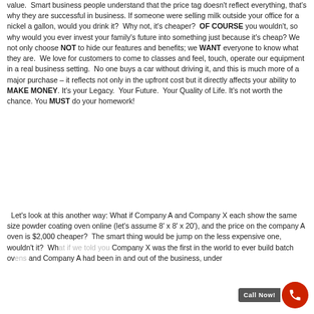value.  Smart business people understand that the price tag doesn't reflect everything, that's why they are successful in business. If someone were selling milk outside your office for a nickel a gallon, would you drink it?  Why not, it's cheaper?  OF COURSE you wouldn't, so why would you ever invest your family's future into something just because it's cheap? We not only choose NOT to hide our features and benefits; we WANT everyone to know what they are.  We love for customers to come to classes and feel, touch, operate our equipment in a real business setting.  No one buys a car without driving it, and this is much more of a major purchase – it reflects not only in the upfront cost but it directly affects your ability to MAKE MONEY. It's your Legacy.  Your Future.  Your Quality of Life. It's not worth the chance. You MUST do your homework!
Let's look at this another way: What if Company A and Company X each show the same size powder coating oven online (let's assume 8' x 8' x 20'), and the price on the company A oven is $2,000 cheaper?  The smart thing would be jump on the less expensive one, wouldn't it?  What if we told you Company X was the first in the world to ever build batch ovens and Company A had been in and out of the business, under